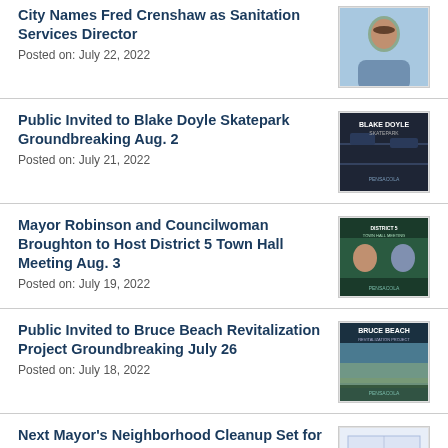City Names Fred Crenshaw as Sanitation Services Director
Posted on: July 22, 2022
Public Invited to Blake Doyle Skatepark Groundbreaking Aug. 2
Posted on: July 21, 2022
Mayor Robinson and Councilwoman Broughton to Host District 5 Town Hall Meeting Aug. 3
Posted on: July 19, 2022
Public Invited to Bruce Beach Revitalization Project Groundbreaking July 26
Posted on: July 18, 2022
Next Mayor's Neighborhood Cleanup Set for Saturday, July 30